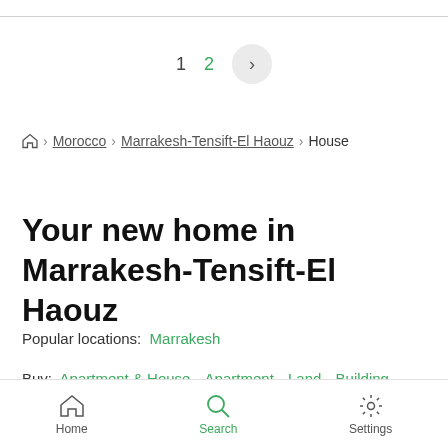1  2  >
Home > Morocco > Marrakesh-Tensift-El Haouz > House
Your new home in Marrakesh-Tensift-El Haouz
Popular locations:  Marrakesh
Buy:  Apartment & House · Apartment · Land · Building · Parking · Commercial
Home  Search  Settings